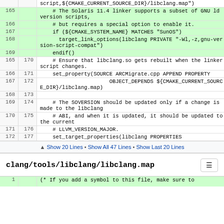Code diff showing CMakeLists.txt lines 165-177 with added lines highlighted in green, and a file header for clang/tools/libclang/libclang.map